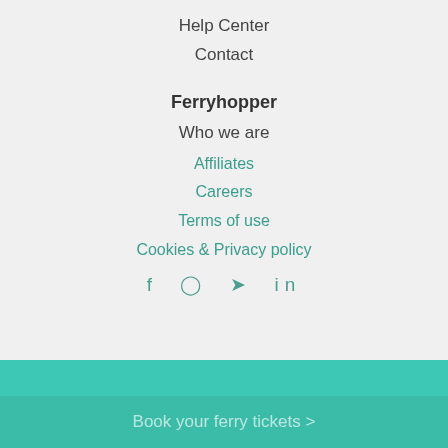Help Center
Contact
Ferryhopper
Who we are
Affiliates
Careers
Terms of use
Cookies & Privacy policy
We use cookies to provide our services and a good browsing experience. By continuing to use Ferryhopper, you agree to this. You can find more information and review your cookie settings on this page
I accept
Book your ferry tickets >